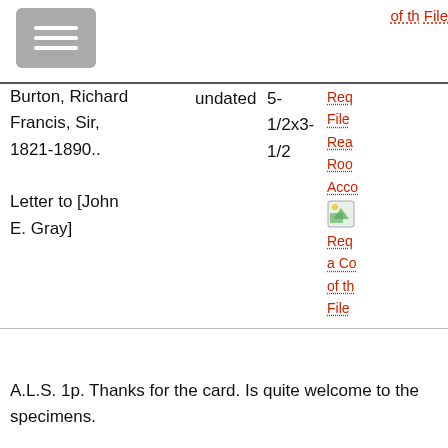[Figure (other): Menu/hamburger button icon (three horizontal lines on grey background)]
of th
File
| Name | Date | Size | Links |
| --- | --- | --- | --- |
| Burton, Richard Francis, Sir, 1821-1890.. Letter to [John E. Gray] | undated | 5-1/2x3-1/2 | Req
File
Rea
Roo
Acc
[image]
Req
a Co
of th
File |
A.L.S. 1p. Thanks for the card. Is quite welcome to the specimens.